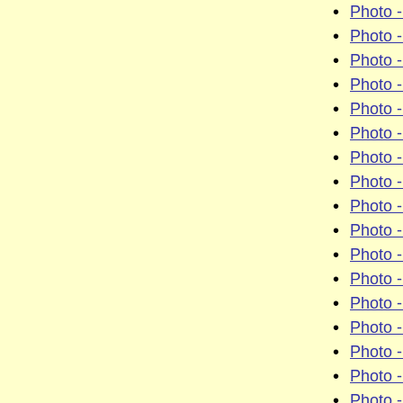Photo - Hunt volunteers for the handouts
Photo - The Poet - Barrows card
Photo - The Poet - Flynn card
Photo - The Poet - Cooney card
Photo - The Poet - Blake card
Photo - The Poet - The cards in the prope…
Photo - Sing-along handout - the Sheet M…
Photo - Andrew Borts, endurance singer
Photo - Another view of the Sing-along p…
Photo - A view of the Sing-along puzzle f…
Photo - An incorrect solution to Sing-alo…
Photo - The Video puzzle (panorama)
Photo - The Video puzzle as seen from th…
Photo - A Hunter looks down at the Video…
Photo - If you found the Video puzzle em…
Photo - Andy and Dave meet up during th…
Photo - Judi Smith and Suzy Cruz on the …
Photo - Hunters go over their solutions w…
Photo - Dave prepares to announce the 3p…
Photo - Tom backs up Dave during the 3p…
Photo - The final clue
Photo - The crowd around the Hunt stage…
Photo - Tom and Dave and the Hunt crow…
Photo - End game handout - If you were …
Photo - Dave explains the Hunt to the cr…